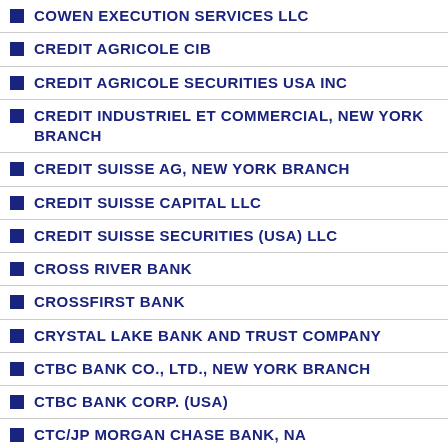COWEN EXECUTION SERVICES LLC
CREDIT AGRICOLE CIB
CREDIT AGRICOLE SECURITIES USA INC
CREDIT INDUSTRIEL ET COMMERCIAL, NEW YORK BRANCH
CREDIT SUISSE AG, NEW YORK BRANCH
CREDIT SUISSE CAPITAL LLC
CREDIT SUISSE SECURITIES (USA) LLC
CROSS RIVER BANK
CROSSFIRST BANK
CRYSTAL LAKE BANK AND TRUST COMPANY
CTBC BANK CO., LTD., NEW YORK BRANCH
CTBC BANK CORP. (USA)
CTC/JP MORGAN CHASE BANK, NA